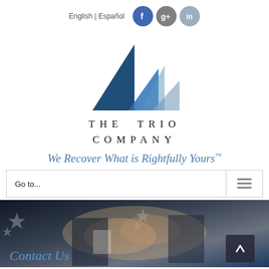English | Español
[Figure (logo): The Trio Company mountain logo with three triangular peaks in dark blue, medium blue, and light blue/grey, with text 'THE TRIO COMPANY' below in spaced capitals]
We Recover What is Rightfully Yours™
Go to...
[Figure (photo): Background photo of two people in business attire shaking hands, with decorative geometric star patterns on left and right sides, dark blue overlay. 'Contact Us' text visible at bottom left in blue italic.]